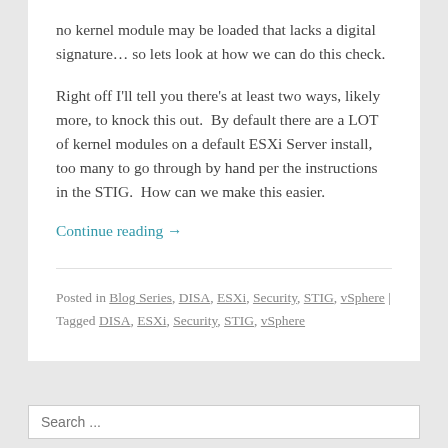no kernel module may be loaded that lacks a digital signature… so lets look at how we can do this check.
Right off I'll tell you there's at least two ways, likely more, to knock this out.  By default there are a LOT of kernel modules on a default ESXi Server install, too many to go through by hand per the instructions in the STIG.  How can we make this easier.
Continue reading →
Posted in Blog Series, DISA, ESXi, Security, STIG, vSphere | Tagged DISA, ESXi, Security, STIG, vSphere
Search ...